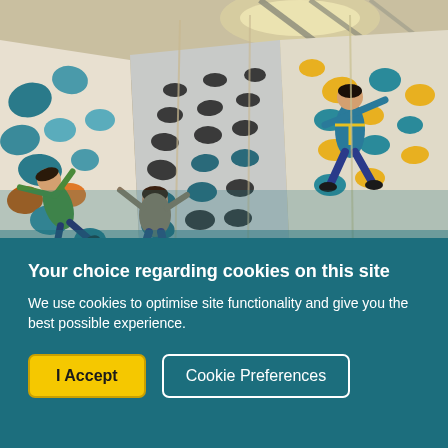[Figure (photo): Indoor climbing wall viewed from below at an angle. Multiple climbers in harnesses are scaling large colorful walls with holds in blue, teal, orange, and yellow. The ceiling and structural beams of the facility are visible above.]
Your choice regarding cookies on this site
We use cookies to optimise site functionality and give you the best possible experience.
I Accept
Cookie Preferences